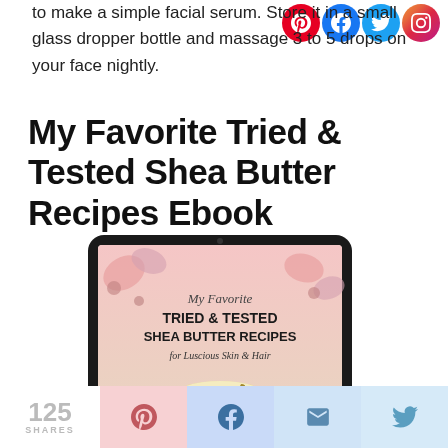to make a simple facial serum. Store it in a small glass dropper bottle and massage 3 to 5 drops on your face nightly.
My Favorite Tried & Tested Shea Butter Recipes Ebook
[Figure (photo): Tablet device showing ebook cover titled 'My Favorite Tried & Tested Shea Butter Recipes for Luscious Skin & Hair' with floral and shea butter imagery]
125 SHARES